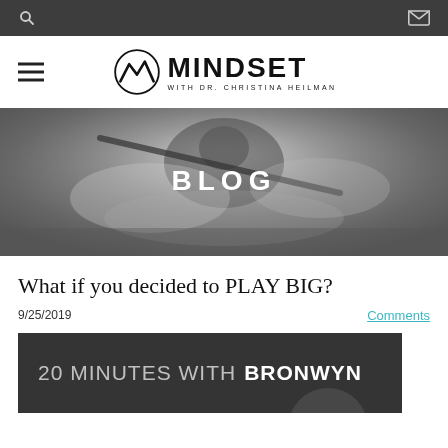Navigation bar with search and email icons
[Figure (logo): Mindset with Dr. Christina Heilman logo with stylized mountain M icon]
[Figure (photo): Black and white photo of a kayaker in whitewater rapids, with 'BLOG' text overlaid in white]
What if you decided to PLAY BIG?
9/25/2019
Comments
[Figure (photo): Dark gray banner image with text '20 MINUTES WITH BRONWYN']